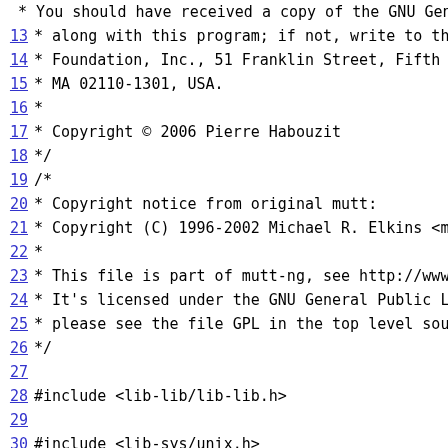* You should have received a copy of the GNU General Public Lice
13 *  along with this program; if not, write to the Free Software
14 *  Foundation, Inc., 51 Franklin Street, Fifth Floor, Boston,
15 *  MA 02110-1301, USA.
16 *
17 *  Copyright © 2006 Pierre Habouzit
18 */
19 /*
20 *  Copyright notice from original mutt:
21 *  Copyright (C) 1996-2002 Michael R. Elkins <me@mutt.org>
22 *
23 *  This file is part of mutt-ng, see http://www.muttng.org/.
24 *  It's licensed under the GNU General Public License,
25 *  please see the file GPL in the top level source directory.
26 */
27
28 #include <lib-lib/lib-lib.h>
29
30 #include <lib-sys/unix.h>
31
32 #include <lib-ui/curses.h>
33 #include <lib-ui/enter.h>
34 #include <lib-ui/menu.h>
35
36 #include "alias.h"